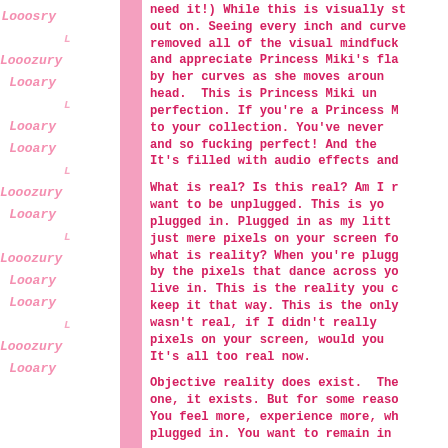[Figure (other): Decorative sidebar with repeating pink Looosury logo text arranged in two columns on white background, with a pink vertical bar divider.]
need it!) While this is visually st out on. Seeing every inch and curve removed all of the visual mindfuck and appreciate Princess Miki's fla by her curves as she moves aroun head. This is Princess Miki un perfection. If you're a Princess M to your collection. You've never and so fucking perfect! And the It's filled with audio effects and

What is real? Is this real? Am I r want to be unplugged. This is yo plugged in. Plugged in as my litt just mere pixels on your screen fo what is reality? When you're plugg by the pixels that dance across yo live in. This is the reality you c keep it that way. This is the only wasn't real, if I didn't really pixels on your screen, would you It's all too real now.

Objective reality does exist. The one, it exists. But for some reaso You feel more, experience more, wh plugged in. You want to remain in